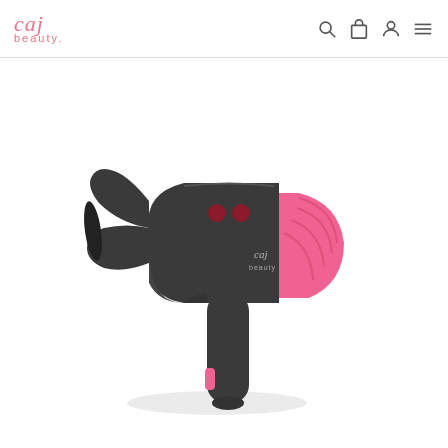caj beauty — navigation header with search, cart, account, and menu icons
[Figure (photo): A dark gray and pink hair dryer with the 'caj beauty' logo on the body. The dryer has a wide nozzle/diffuser on the left, a sleek curved body, pink accent grips near the back, two dark red buttons on top, and a straight handle with a pink switch near the bottom. The product is shown on a white background with a soft shadow.]